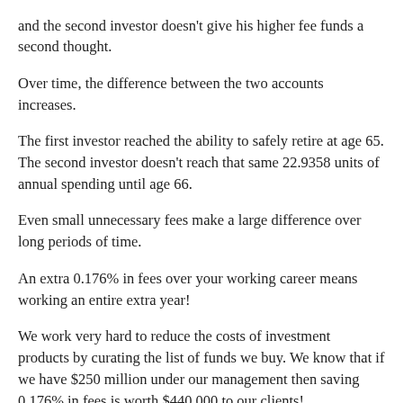and the second investor doesn't give his higher fee funds a second thought.
Over time, the difference between the two accounts increases.
The first investor reached the ability to safely retire at age 65. The second investor doesn't reach that same 22.9358 units of annual spending until age 66.
Even small unnecessary fees make a large difference over long periods of time.
An extra 0.176% in fees over your working career means working an entire extra year!
We work very hard to reduce the costs of investment products by curating the list of funds we buy. We know that if we have $250 million under our management then saving 0.176% in fees is worth $440,000 to our clients!
And 0.176% is a small difference. The normal amount of 12b-1 fees for non-loaded funds is 0.25%. The average asset weighted expense ratio